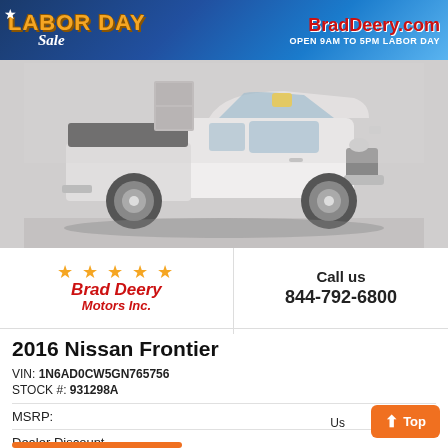[Figure (photo): White 2016 Nissan Frontier pickup truck in a dealership showroom. Banner overlay at top reads 'LABOR DAY Sale' on the left and 'BradDeery.com / OPEN 9AM TO 5PM LABOR DAY' on the right.]
[Figure (logo): Brad Deery Motors Inc. logo with five gold stars and red italic text.]
Call us
844-792-6800
2016 Nissan Frontier
VIN: 1N6AD0CW5GN765756
STOCK #: 931298A
MSRP:	-
Dealer Discount